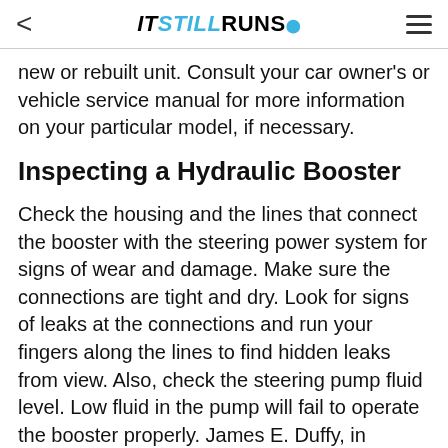IT STILL RUNS
new or rebuilt unit. Consult your car owner's or vehicle service manual for more information on your particular model, if necessary.
Inspecting a Hydraulic Booster
Check the housing and the lines that connect the booster with the steering power system for signs of wear and damage. Make sure the connections are tight and dry. Look for signs of leaks at the connections and run your fingers along the lines to find hidden leaks from view. Also, check the steering pump fluid level. Low fluid in the pump will fail to operate the booster properly. James E. Duffy, in Modern Automotive Technology, recommends